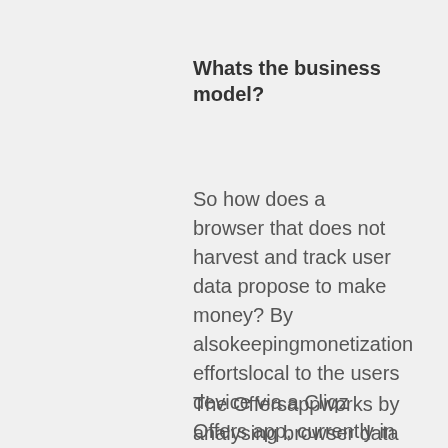Whats the business model?
So how does a browser that does not harvest and track user data propose to make money? By alsokeepingmonetization effortslocal to the users device via a Cliqz Offers app, currently in the works, with a push rather than pull structurefor sending relevant offers out to users.
The Offersappworks by analysing browser data (such